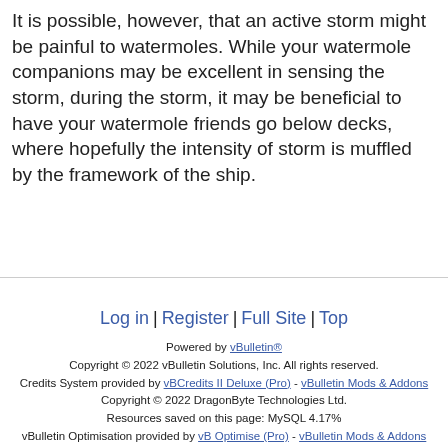It is possible, however, that an active storm might be painful to watermoles. While your watermole companions may be excellent in sensing the storm, during the storm, it may be beneficial to have your watermole friends go below decks, where hopefully the intensity of storm is muffled by the framework of the ship.
Log in | Register | Full Site | Top
Powered by vBulletin®
Copyright © 2022 vBulletin Solutions, Inc. All rights reserved.
Credits System provided by vBCredits II Deluxe (Pro) - vBulletin Mods & Addons
Copyright © 2022 DragonByte Technologies Ltd.
Resources saved on this page: MySQL 4.17%
vBulletin Optimisation provided by vB Optimise (Pro) - vBulletin Mods & Addons
Copyright © 2022 DragonByte Technologies Ltd.
User Alert System provided by Advanced User Tagging (Pro) - vBulletin Mods & Addons Copyright © 2022 DragonByte Technologies Ltd.
Copyright ©2018, Pirate101 Central - All Rights Reserved - Portions Copyright ©2017, KingsIsle Entertainment, Inc.
Content published on Pirate101 Central requires permission for reprint anywhere.